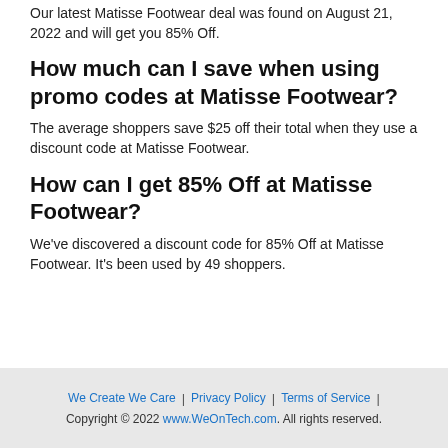Our latest Matisse Footwear deal was found on August 21, 2022 and will get you 85% Off.
How much can I save when using promo codes at Matisse Footwear?
The average shoppers save $25 off their total when they use a discount code at Matisse Footwear.
How can I get 85% Off at Matisse Footwear?
We've discovered a discount code for 85% Off at Matisse Footwear. It's been used by 49 shoppers.
We Create We Care | Privacy Policy | Terms of Service | Copyright © 2022 www.WeOnTech.com. All rights reserved.